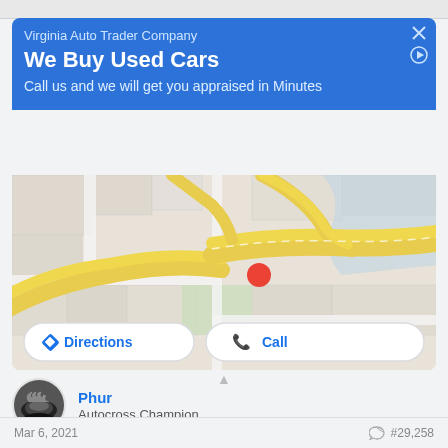Virginia Auto Trader Company
We Buy Used Cars
Call us and we will get you appraised in Minutes
[Figure (map): Google Maps view showing road network with yellow highways and a red location pin marker in center]
Directions
Call
Phur
Autocross Champion
Mar 6, 2021  #29,258